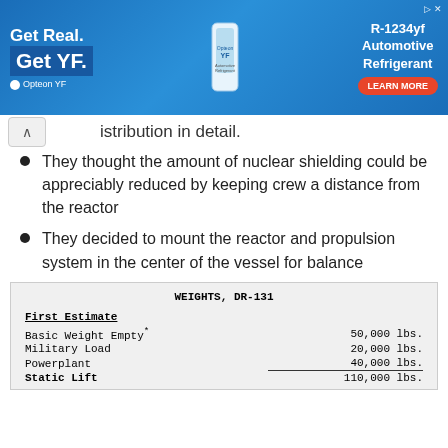[Figure (other): Advertisement banner for Opteon YF R-1234yf Automotive Refrigerant with blue background, product bottle image, and Learn More button]
distribution in detail.
They thought the amount of nuclear shielding could be appreciably reduced by keeping crew a distance from the reactor
They decided to mount the reactor and propulsion system in the center of the vessel for balance
|  |  |
| --- | --- |
| WEIGHTS, DR-131 |  |
| First Estimate |  |
| Basic Weight Empty* | 50,000 lbs. |
| Military Load | 20,000 lbs. |
| Powerplant | 40,000 lbs. |
| Static Lift | 110,000 lbs. |